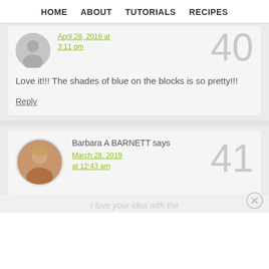HOME   ABOUT   TUTORIALS   RECIPES
April 28, 2016 at 3:11 pm
Love it!!! The shades of blue on the blocks is so pretty!!!
Reply
Barbara A BARNETT says
March 28, 2019 at 12:43 am
I love your idea with the